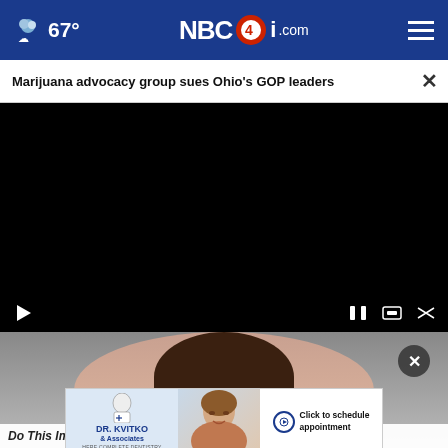67° NBC4i.com
Marijuana advocacy group sues Ohio's GOP leaders
[Figure (screenshot): Black video player area with playback controls bar at bottom]
[Figure (photo): Partial photo of a woman with dark hair, lower face visible]
[Figure (other): Advertisement banner for Dr. Kvitko & Associates dental office with a woman smiling and Click to schedule appointment button]
Do This Immediately If You Have Moles or Skin Tags,